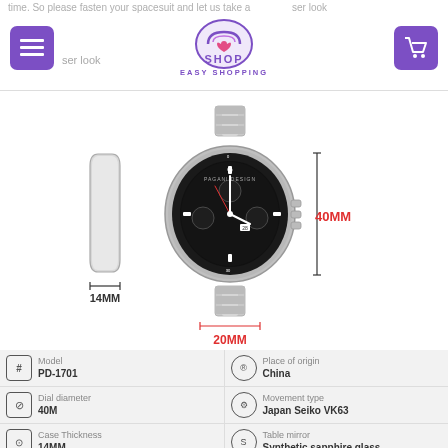time. So please fasten your spacesuit and let us take a closer look
[Figure (logo): Easy Shopping logo with bag icon, purple text SHOP and EASY SHOPPING]
[Figure (photo): Stainless steel chronograph watch with black dial, three sub-dials, shown with dimension annotations: 40MM height, 14MM thickness, 20MM lug width. Side profile of case shown on left.]
| Model | PD-1701 | Place of origin | China |
| Dial diameter | 40M | Movement type | Japan Seiko VK63 |
| Case Thickness | 14MM | Table mirror | Synthetic sapphire glass |
| Watchband | 316L stainless steel | Case | 316L stainless steel |